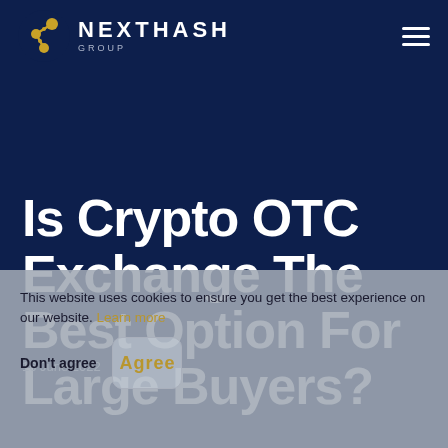[Figure (logo): NextHash Group logo with golden chain/node icon on the left and NEXTHASH GROUP text on the right]
Is Crypto OTC Exchange The Best Option For Large Buyers?
16 June 2022
This website uses cookies to ensure you get the best experience on our website. Learn more
Don't agree | Agree